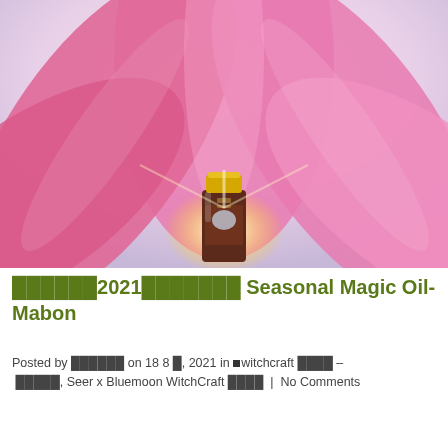[Figure (photo): A large pink lotus flower with petals spread wide, with a small dark glass bottle with a gold cap (magic oil) centered at the bottom, glowing light behind the bottle, against a soft light background.]
⬜⬜⬜⬜⬜⬜2021⬜⬜⬜⬜⬜⬜⬜ Seasonal Magic Oil-Mabon
Posted by ⬜⬜⬜⬜⬜⬜ on 18 8 ⬜, 2021 in ■witchcraft ⬜⬜⬜⬜ – ⬜⬜⬜⬜⬜, Seer x Bluemoon WitchCraft ⬜⬜⬜⬜  |  No Comments